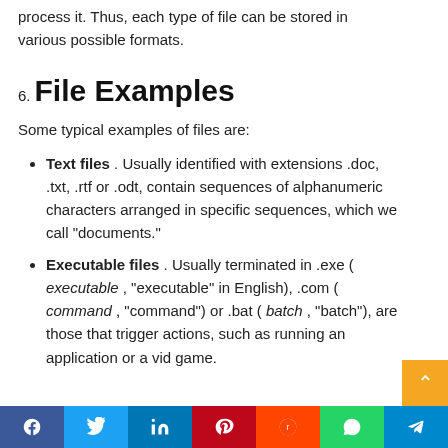process it. Thus, each type of file can be stored in various possible formats.
6. File Examples
Some typical examples of files are:
Text files . Usually identified with extensions .doc, .txt, .rtf or .odt, contain sequences of alphanumeric characters arranged in specific sequences, which we call "documents."
Executable files . Usually terminated in .exe ( executable , "executable" in English), .com ( command , "command") or .bat ( batch , "batch"), are those that trigger actions, such as running an application or a video game.
Share buttons: Facebook, Twitter, LinkedIn, Pinterest, Reddit, WhatsApp, Telegram